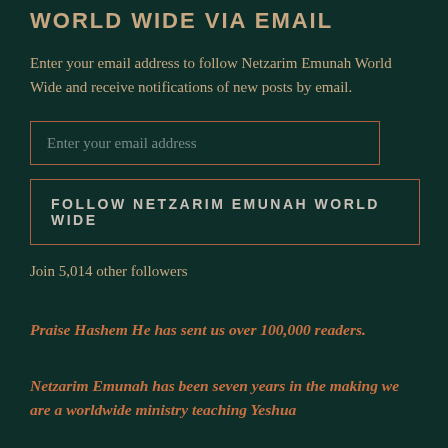WORLD WIDE VIA EMAIL
Enter your email address to follow Netzarim Emunah World Wide and receive notifications of new posts by email.
Enter your email address
FOLLOW NETZARIM EMUNAH WORLD WIDE
Join 5,014 other followers
Praise Hashem He has sent us over 100,000 readers.
Netzarim Emunah has been seven years in the making we are a worldwide ministry teaching Yeshua